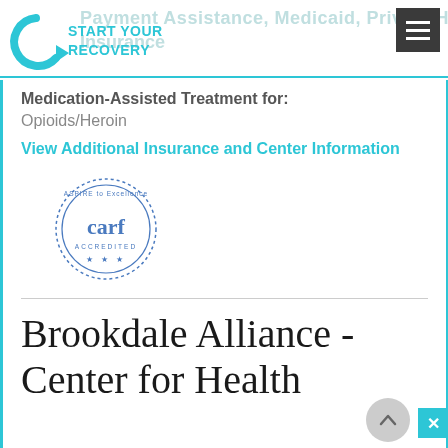[Figure (logo): Start Your Recovery logo with circular arrow icon and teal text reading START YOUR RECOVERY]
Payment Assistance, Medicaid, Private Health Insurance
Medication-Assisted Treatment for:
Opioids/Heroin
View Additional Insurance and Center Information
[Figure (logo): CARF Accredited seal - Aspire to Excellence circular badge]
Brookdale Alliance - Center for Health